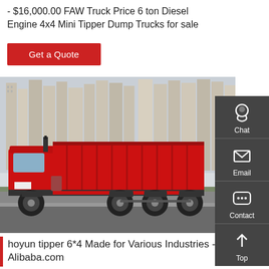- $16,000.00 FAW Truck Price 6 ton Diesel Engine 4x4 Mini Tipper Dump Trucks for sale
Get a Quote
[Figure (photo): Red FAW dump truck (tipper, 6x4 configuration) parked on a road with urban high-rise buildings in the background. The truck has a large red cargo bed and multiple rear axles.]
hoyun tipper 6*4 Made for Various Industries - Alibaba.com